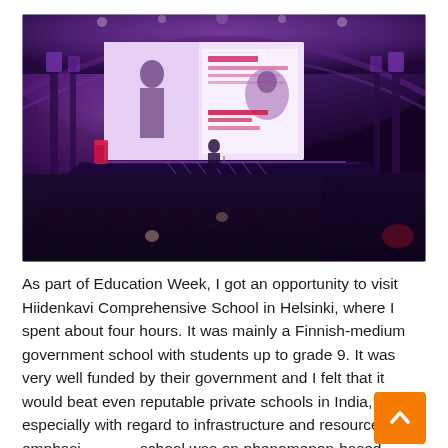[Figure (photo): A large conference auditorium filled with audience members seated in rows, viewed from the back. A speaker stands on a purple-lit stage at the front with a large projection screen showing a presentation. The ceiling is arched with purple lighting. The setting appears to be a formal education conference.]
As part of Education Week, I got an opportunity to visit Hiidenkavi Comprehensive School in Helsinki, where I spent about four hours. It was mainly a Finnish-medium government school with students up to grade 9. It was very well funded by their government and I felt that it would beat even reputable private schools in India, especially with regard to infrastructure and resources. The emphasis in that school was on phenomenon-based learning (these interdisciplinary